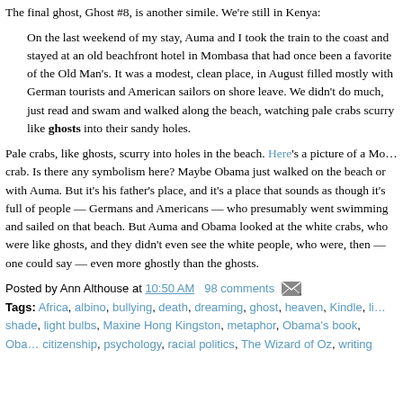The final ghost, Ghost #8, is another simile. We're still in Kenya:
On the last weekend of my stay, Auma and I took the train to the coast and stayed at an old beachfront hotel in Mombasa that had once been a favorite of the Old Man's. It was a modest, clean place, in August filled mostly with German tourists and American sailors on shore leave. We didn't do much, just read and swam and walked along the beach, watching pale crabs scurry like ghosts into their sandy holes.
Pale crabs, like ghosts, scurry into holes in the beach. Here's a picture of a Mombasa crab. Is there any symbolism here? Maybe Obama just walked on the beach or with Auma. But it's his father's place, and it's a place that sounds as though it's full of white people — Germans and Americans — who presumably went swimming and sailed on that beach. But Auma and Obama looked at the white crabs, who were like ghosts, and they didn't even see the white people, who were, then — one could say — even more ghostly than the ghosts.
Posted by Ann Althouse at 10:50 AM  98 comments
Tags: Africa, albino, bullying, death, dreaming, ghost, heaven, Kindle, li... shade, light bulbs, Maxine Hong Kingston, metaphor, Obama's book, Oba... citizenship, psychology, racial politics, The Wizard of Oz, writing